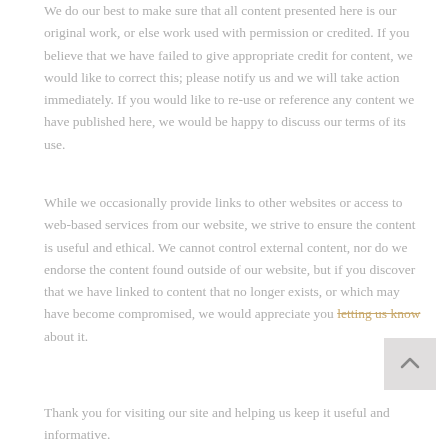We do our best to make sure that all content presented here is our original work, or else work used with permission or credited. If you believe that we have failed to give appropriate credit for content, we would like to correct this; please notify us and we will take action immediately. If you would like to re-use or reference any content we have published here, we would be happy to discuss our terms of its use.
While we occasionally provide links to other websites or access to web-based services from our website, we strive to ensure the content is useful and ethical. We cannot control external content, nor do we endorse the content found outside of our website, but if you discover that we have linked to content that no longer exists, or which may have become compromised, we would appreciate you letting us know about it.
Thank you for visiting our site and helping us keep it useful and informative.